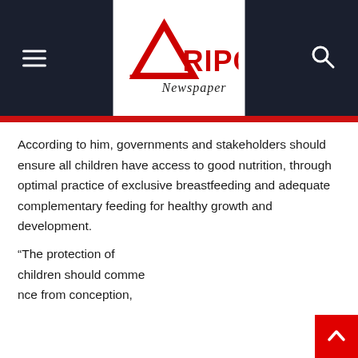Afripost Newspaper
According to him, governments and stakeholders should ensure all children have access to good nutrition, through optimal practice of exclusive breastfeeding and adequate complementary feeding for healthy growth and development.
“The protection of children should commence from conception,